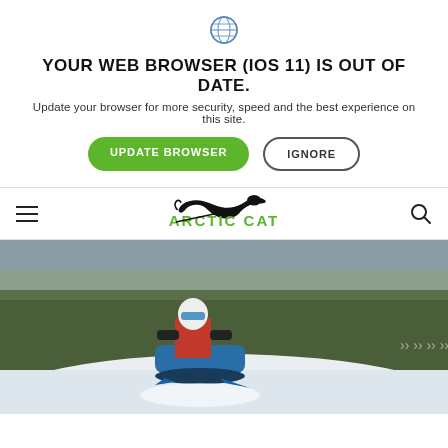[Figure (logo): Globe/browser icon]
YOUR WEB BROWSER (IOS 11) IS OUT OF DATE.
Update your browser for more security, speed and the best experience on this site.
UPDATE BROWSER | IGNORE
[Figure (logo): Arctic Cat logo with leaping cat silhouette and green text]
🏠 > Snowmobiles > ATAC
[Figure (photo): Person riding a blue Arctic Cat snowmobile through deep snow in a forested winter setting, wearing red jacket and white helmet with goggles]